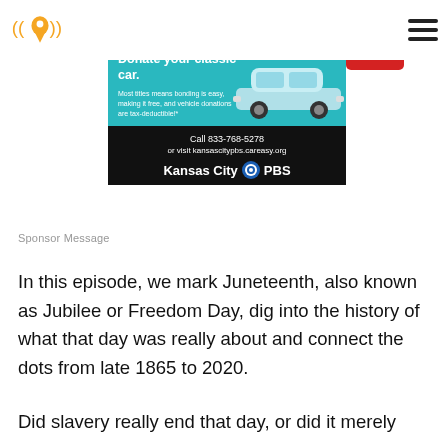[Figure (logo): Podcast/radio app logo: orange location pin with sound waves on either side]
[Figure (screenshot): Advertisement banner for Kansas City PBS car donation: teal background with classic car image, red donation button, black footer with phone number 833-768-5278 and website kansascitypbs.careasy.org]
Sponsor Message
In this episode, we mark Juneteenth, also known as Jubilee or Freedom Day, dig into the history of what that day was really about and connect the dots from late 1865 to 2020.
Did slavery really end that day, or did it merely